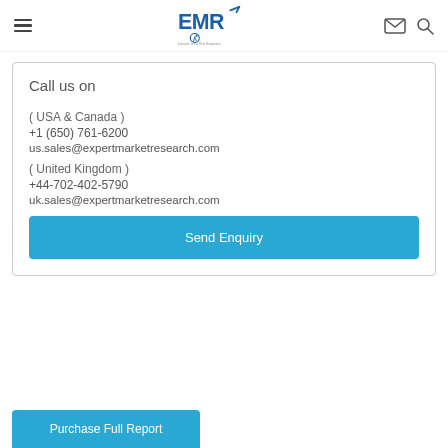EMR - Expert Market Research logo with hamburger menu, email, and search icons
Call us on
( USA & Canada )
+1 (650) 761-6200
us.sales@expertmarketresearch.com
( United Kingdom )
+44-702-402-5790
uk.sales@expertmarketresearch.com
Send Enquiry
Purchase Full Report